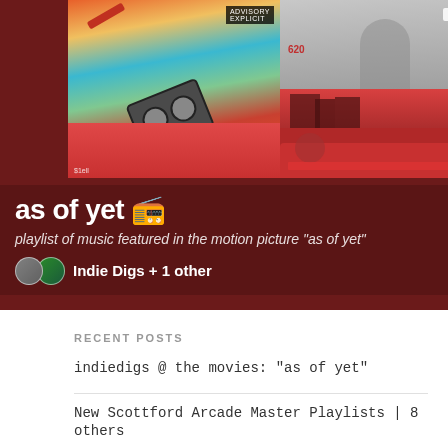[Figure (screenshot): Spotify-style playlist screenshot showing album art grid with cassette tape imagery, colorful landscapes, city scenes. Title 'as of yet' with radio emoji. Subtitle: playlist of music featured in the motion picture "as of yet". Creator: Indie Digs + 1 other]
RECENT POSTS
indiedigs @ the movies: "as of yet"
New Scottford Arcade Master Playlists | 8 others